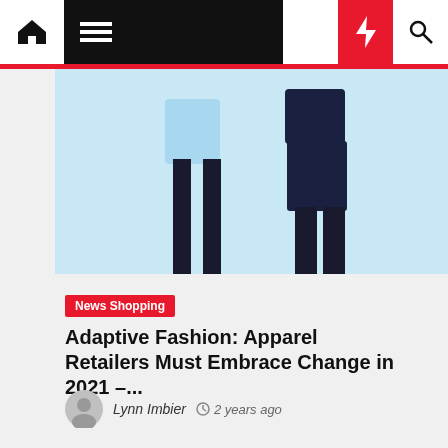Navigation bar with home, menu, moon, bolt, search icons
[Figure (photo): Fashion photo showing two figures wearing adaptive clothing — one in light blue top and black pants on left, one in dark outfit on right, against a light blue background]
News Shopping
Adaptive Fashion: Apparel Retailers Must Embrace Change in 2021 –...
Lynn Imbier  2 years ago
[Figure (photo): Gray placeholder image at bottom of page]